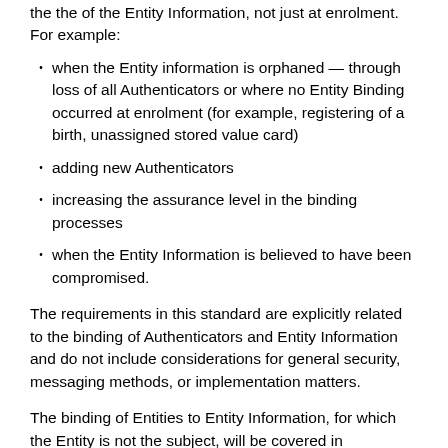the the of the Entity Information, not just at enrolment. For example:
when the Entity information is orphaned — through loss of all Authenticators or where no Entity Binding occurred at enrolment (for example, registering of a birth, unassigned stored value card)
adding new Authenticators
increasing the assurance level in the binding processes
when the Entity Information is believed to have been compromised.
The requirements in this standard are explicitly related to the binding of Authenticators and Entity Information and do not include considerations for general security, messaging methods, or implementation matters.
The binding of Entities to Entity Information, for which the Entity is not the subject, will be covered in